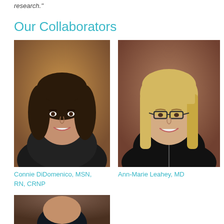research."
Our Collaborators
[Figure (photo): Professional headshot of Connie DiDomenico, a woman with dark curly hair wearing a black cardigan, photographed against an autumn-toned background.]
[Figure (photo): Professional headshot of Ann-Marie Leahey, a woman with straight blonde hair and glasses wearing a black sleeveless top, photographed against a warm brown background.]
Connie DiDomenico, MSN, RN, CRNP
Ann-Marie Leahey, MD
[Figure (photo): Professional headshot of a person with dark hair, partially visible at the bottom of the page.]